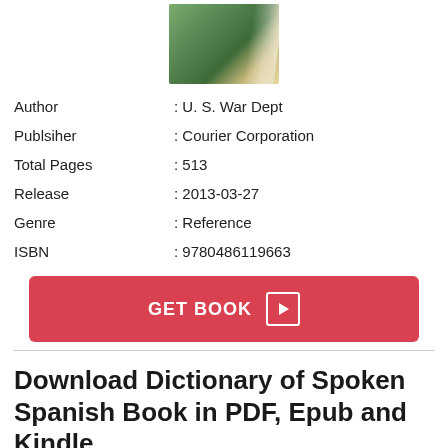[Figure (photo): Book cover thumbnail for Dictionary of Spoken Spanish, green tones with plant imagery]
| Author | : U. S. War Dept |
| Publsiher | : Courier Corporation |
| Total Pages | : 513 |
| Release | : 2013-03-27 |
| Genre | : Reference |
| ISBN | : 9780486119663 |
GET BOOK
Download Dictionary of Spoken Spanish Book in PDF, Epub and Kindle